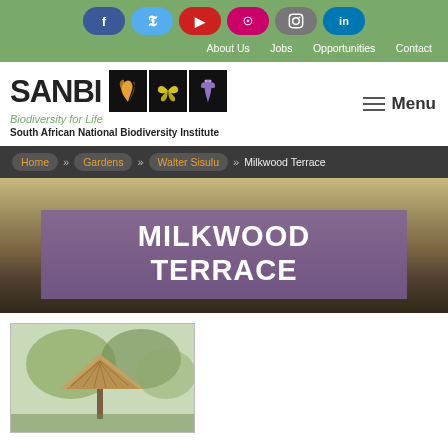Social media links: Facebook, Twitter, YouTube, Flickr, Instagram, LinkedIn
About Us | Jobs | Opportunities | Contact
[Figure (logo): SANBI - Biodiversity for Life - South African National Biodiversity Institute logo with three black icon boxes showing stylized birds/flowers]
≡ Menu
Home » Gardens » Walter Sisulu » Milkwood Terrace
MILKWOOD TERRACE
[Figure (photo): Outdoor photo of a thatched gazebo/shelter surrounded by trees in a botanical garden setting]